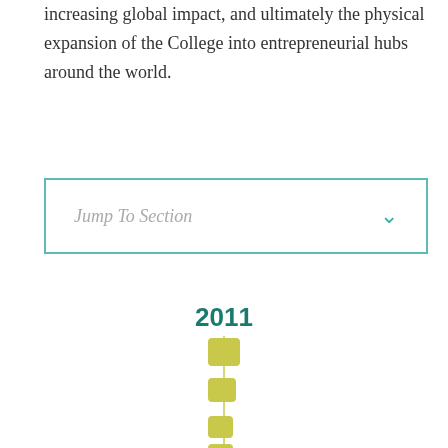increasing global impact, and ultimately the physical expansion of the College into entrepreneurial hubs around the world.
Jump To Section
2011
[Figure (infographic): Vertical timeline with yellow square markers connected by thin yellow lines, starting at 2011 and extending downward with 4 visible square nodes.]